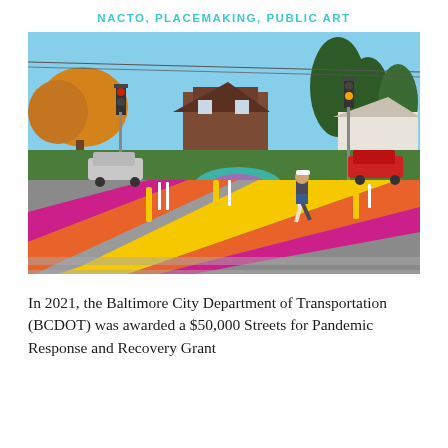NACTO, PLACEMAKING, PUBLIC ART
[Figure (photo): A colorful painted intersection in Baltimore with diagonal stripes of magenta, orange, and yellow on the crosswalk and roadway, a pedestrian walking through, yellow bollards, traffic signals, and residential buildings in the background on a sunny autumn day.]
In 2021, the Baltimore City Department of Transportation (BCDOT) was awarded a $50,000 Streets for Pandemic Response and Recovery Grant